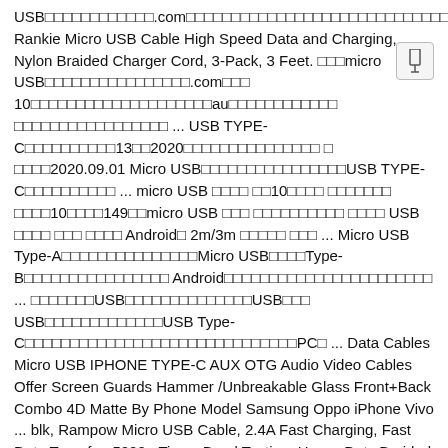USB□□□□□□□□□□□□.com□□□□□□□□□□□□□□□□□□□□□□□□□□□□□□□□□□□□□□□□□□□□□□□□□□ □□□□□□□□□□□□□□□□□□ Rankie Micro USB Cable High Speed Data and Charging, Nylon Braided Charger Cord, 3-Pack, 3 Feet. □□□micro USB□□□□□□□□□□□□□□□□.com□□□ 10□□□□□□□□□□□□□□□□□□□□□au□□□□□□□□□□□□ □□□□□□□□□□□□□□□□□ ... USB TYPE-C□□□□□□□□□□13□□2020□□□□□□□□□□□□□□□ □ □□□□2020.09.01 Micro USB□□□□□□□□□□□□□□□□USB TYPE-C□□□□□□□□□□ ... micro USB □□□□ □□10□□□□ □□□□□□□ □□□□10□□□□149□□micro USB □□□ □□□□□□□□□□ □□□□ USB □□□□ □□□ □□□□ Android□ 2m/3m □□□□□ □□□ ... Micro USB Type-A□□□□□□□□□□□□□□□Micro USB□□□□Type-B□□□□□□□□□□□□□□□□ Android□□□□□□□□□□□□□□□□□□□□□□□ ... □□□□□□□USB□□□□□□□□□□□□□□□USB□□□ USB□□□□□□□□□□□□□USB Type-C□□□□□□□□□□□□□□□□□□□□□□□□□□□□□□□PC□ ... Data Cables Micro USB IPHONE TYPE-C AUX OTG Audio Video Cables Offer Screen Guards Hammer /Unbreakable Glass Front+Back Combo 4D Matte By Phone Model Samsung Oppo iPhone Vivo ... blk, Rampow Micro USB Cable, 2.4A Fast Charging, Fast Data Transfer, 5000+ Times Bend Testing, Heavy Duty Braided Nylon Cable, Android Microusb, Micro USB Cable, Amazon Basic USB Cable 0.9m 3 Pack (2.0 Type A Male to Micro B Cable), Black, BrexLink Micro USB Cable [2M/2 Packs/Warranty] Micro USB Cable 3A Fast Charging Fast Data Transfer, Ultra Durable Nylon Braided USB Cable Micro Galaxy, Xperia, Nexus, Moto, ASUS, AquOS, Huawei, Kindle, PS4, Xbox and Other Android Devices, Android Phones 1000+ Times of Tuning Test (2M, Blue), Rampow Micro USB Cable, 2.4 A Fast Charging, Supports High